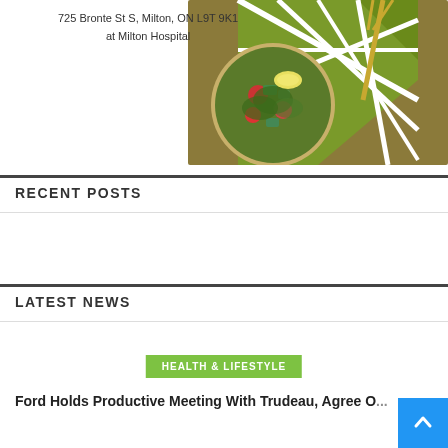[Figure (photo): Food image with salad bowl and decorative plate background, address text overlay: 725 Bronte St S, Milton, ON L9T 9K1 at Milton Hospital]
RECENT POSTS
LATEST NEWS
HEALTH & LIFESTYLE
Ford Holds Productive Meeting With Trudeau, Agree O...